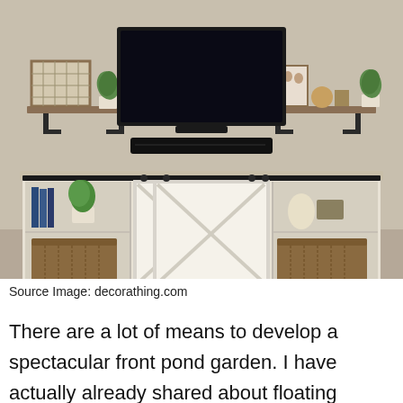[Figure (photo): Interior living room photo showing a farmhouse-style TV console/media cabinet with sliding barn doors (white with X pattern), flanked by open shelves with wicker baskets and decorative items. Above the console is a wall-mounted flat-screen TV with a soundbar, and two floating wooden shelves on either side of the TV holding plants, framed art, and decorative objects. The wall is a beige/tan color.]
Source Image: decorathing.com
There are a lot of means to develop a spectacular front pond garden. I have actually already shared about floating plants, developing water plants wall, plants that